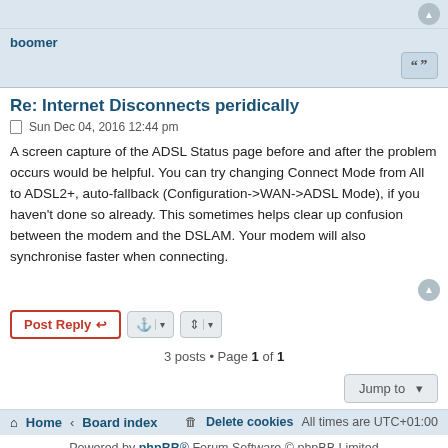boomer
Re: Internet Disconnects peridically
Sun Dec 04, 2016 12:44 pm
A screen capture of the ADSL Status page before and after the problem occurs would be helpful. You can try changing Connect Mode from All to ADSL2+, auto-fallback (Configuration->WAN->ADSL Mode), if you haven't done so already. This sometimes helps clear up confusion between the modem and the DSLAM. Your modem will also synchronise faster when connecting.
3 posts • Page 1 of 1
Home · Board index · Delete cookies   All times are UTC+01:00
Powered by phpBB® Forum Software © phpBB Limited   Privacy | Terms